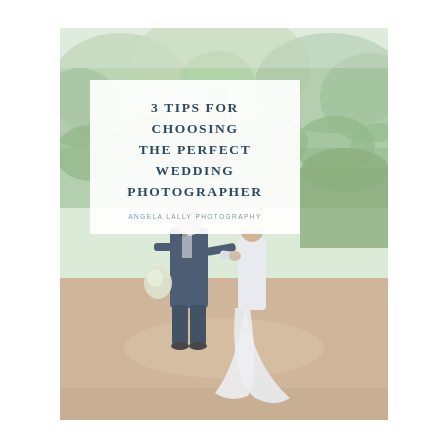[Figure (photo): Wedding photo cover page: a couple walking hand-in-hand outdoors in a lush green garden setting. The groom wears a navy suit with bow tie and holds a bouquet; the bride wears a flowing white/light grey gown. Tall green hedges and trees in the background. Warm, airy, film-style photography.]
3 TIPS FOR CHOOSING THE PERFECT WEDDING PHOTOGRAPHER
ANGELA LALLY PHOTOGRAPHY